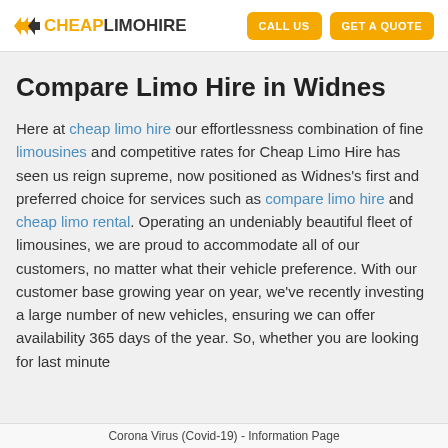CHEAP LIMO HIRE | CALL US | GET A QUOTE
Compare Limo Hire in Widnes
Here at cheap limo hire our effortlessness combination of fine limousines and competitive rates for Cheap Limo Hire has seen us reign supreme, now positioned as Widnes's first and preferred choice for services such as compare limo hire and cheap limo rental. Operating an undeniably beautiful fleet of limousines, we are proud to accommodate all of our customers, no matter what their vehicle preference. With our customer base growing year on year, we've recently investing a large number of new vehicles, ensuring we can offer availability 365 days of the year. So, whether you are looking for last minute
Corona Virus (Covid-19) - Information Page